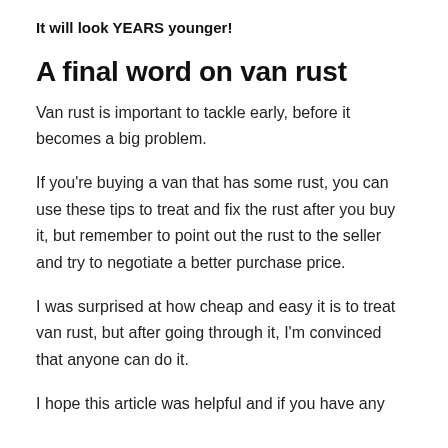It will look YEARS younger!
A final word on van rust
Van rust is important to tackle early, before it becomes a big problem.
If you're buying a van that has some rust, you can use these tips to treat and fix the rust after you buy it, but remember to point out the rust to the seller and try to negotiate a better purchase price.
I was surprised at how cheap and easy it is to treat van rust, but after going through it, I'm convinced that anyone can do it.
I hope this article was helpful and if you have any